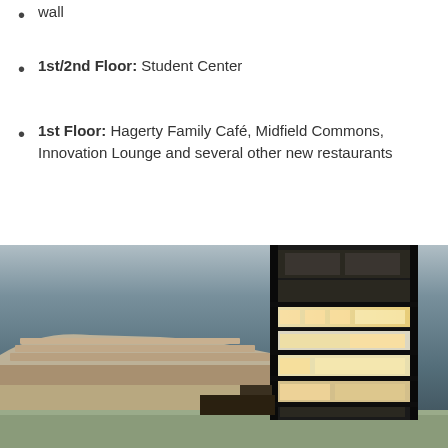wall
1st/2nd Floor: Student Center
1st Floor: Hagerty Family Café, Midfield Commons, Innovation Lounge and several other new restaurants
[Figure (illustration): Architectural rendering of a stadium expansion/tower building showing a cross-section view of a multi-story structure attached to a stadium. The right side shows the interior floors of the tower lit up, with the stadium seating visible on the left side. The background shows a dramatic dusk/evening sky.]